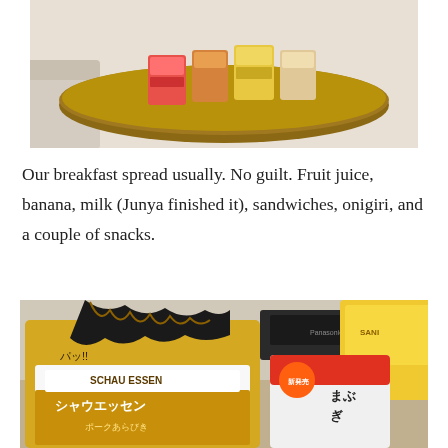[Figure (photo): Photo of snack packages arranged on a round wooden table with a couch in the background]
Our breakfast spread usually. No guilt. Fruit juice, banana, milk (Junya finished it), sandwiches, onigiri, and a couple of snacks.
[Figure (photo): Photo of Japanese food products on a table including a Schau Essen sausage bag with Japanese packaging, a white and red snack package with Japanese text, and a yellow bread package]